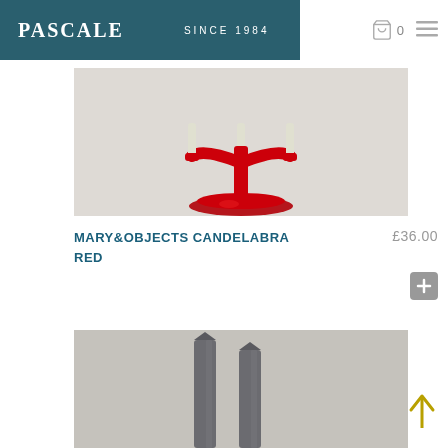PASCALE SINCE 1964
[Figure (photo): Red ceramic candelabra with white candle on a light grey/white background, cropped to show the base and mid-section]
MARY&OBJECTS CANDELABRA RED
£36.00
[Figure (photo): Two grey taper candles standing upright on a light grey background, showing the upper portions of the candles]